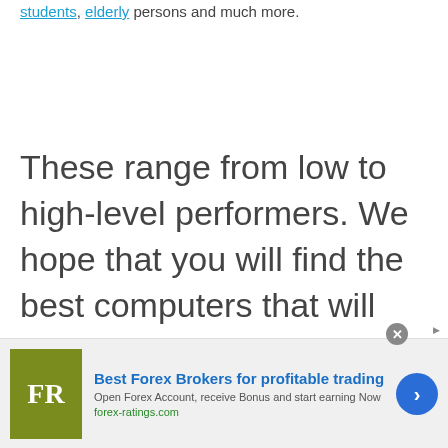students, elderly persons and much more.
These range from low to high-level performers. We hope that you will find the best computers that will fulfill your requirements or a collection of requirements as a whole.
Scroll down below to find the best computers for the money based on your requirements. Check
[Figure (infographic): Advertisement banner for Best Forex Brokers. Shows FR logo in olive/yellow-green square, headline 'Best Forex Brokers for profitable trading', subtext 'Open Forex Account, receive Bonus and start earning Now', link 'forex-ratings.com', blue circular arrow button, and close X button.]